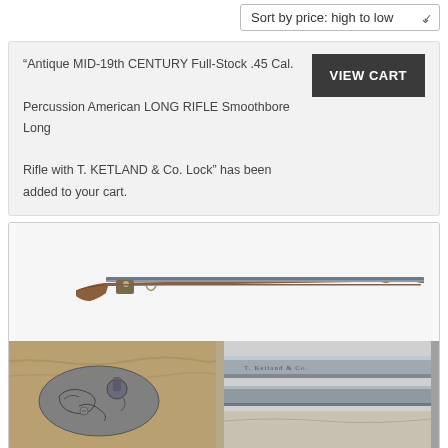Sort by price: high to low
“Antique MID-19th CENTURY Full-Stock .45 Cal. Percussion American LONG RIFLE Smoothbore Long Rifle with T. KETLAND & Co. Lock” has been added to your cart.
VIEW CART
[Figure (photo): Photo of an antique mid-19th century full-stock .45 caliber percussion American long rifle with T. Ketland & Co. lock, shown from the side against a white background. Below are two close-up detail photos: left shows the engraved lock mechanism with floral scrollwork, right shows the barrel with inscription.]